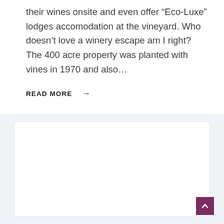their wines onsite and even offer “Eco-Luxe” lodges accomodation at the vineyard. Who doesn’t love a winery escape am I right? The 400 acre property was planted with vines in 1970 and also…
READ MORE →